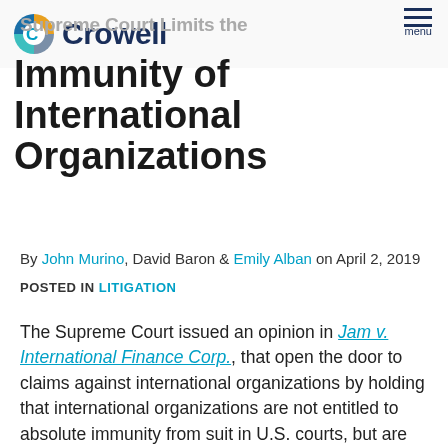Crowell | Supreme Court Limits the Immunity of International Organizations — menu
Supreme Court Limits the Immunity of International Organizations
By John Murino, David Baron & Emily Alban on April 2, 2019
POSTED IN LITIGATION
The Supreme Court issued an opinion in Jam v. International Finance Corp., that open the door to claims against international organizations by holding that international organizations are not entitled to absolute immunity from suit in U.S. courts, but are instead entitled to only the same limited immunity currently granted to foreign governments.